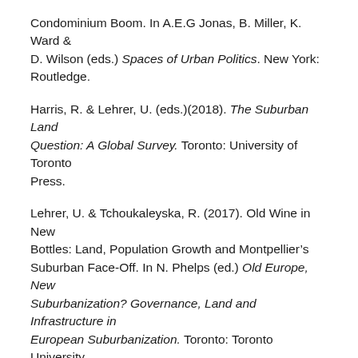Condominium Boom. In A.E.G Jonas, B. Miller, K. Ward & D. Wilson (eds.) Spaces of Urban Politics. New York: Routledge.
Harris, R. & Lehrer, U. (eds.)(2018). The Suburban Land Question: A Global Survey. Toronto: University of Toronto Press.
Lehrer, U. & Tchoukaleyska, R. (2017). Old Wine in New Bottles: Land, Population Growth and Montpellier's Suburban Face-Off. In N. Phelps (ed.) Old Europe, New Suburbanization? Governance, Land and Infrastructure in European Suburbanization. Toronto: Toronto University Press, pp. 133-157.
Lehrer, U. (2016). Room for the Good Society? Public space, amenities and the condominium. In H. Rangan, M.K. NG, L. Porter & J. Chase (eds.) Insurgencies and